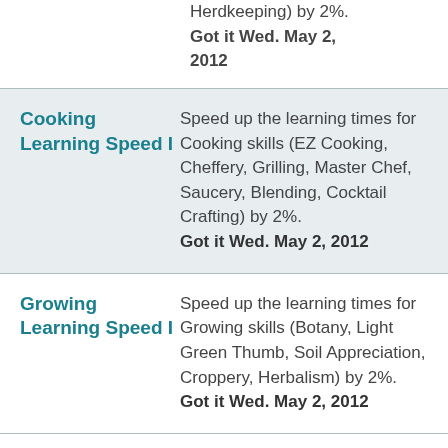Herdkeeping) by 2%. Got it Wed. May 2, 2012
| Skill | Description |
| --- | --- |
| Cooking Learning Speed I | Speed up the learning times for Cooking skills (EZ Cooking, Cheffery, Grilling, Master Chef, Saucery, Blending, Cocktail Crafting) by 2%. Got it Wed. May 2, 2012 |
| Growing Learning Speed I | Speed up the learning times for Growing skills (Botany, Light Green Thumb, Soil Appreciation, Croppery, Herbalism) by 2%. Got it Wed. May 2, 2012 |